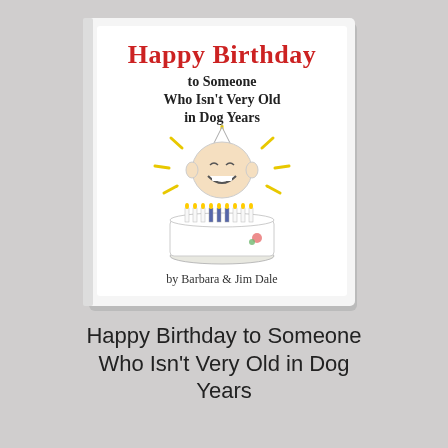[Figure (photo): Photo of a small book cover titled 'Happy Birthday to Someone Who Isn't Very Old in Dog Years' by Barbara & Jim Dale. The cover shows a cartoon character smiling with a birthday cake in front of him and a party hat on top, surrounded by yellow rays. The book is resting on a dark surface.]
Happy Birthday to Someone Who Isn't Very Old in Dog Years